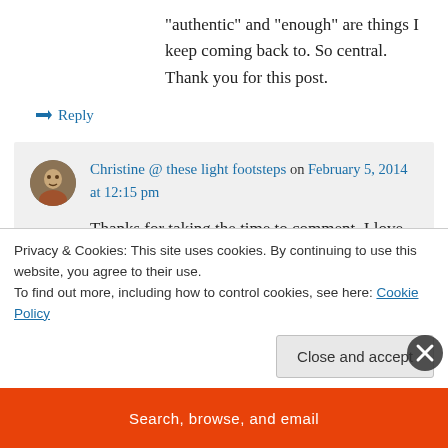“authenticand “enough” are things I keep coming back to. So central. Thank you for this post.
↳ Reply
Christine @ these light footsteps on February 5, 2014 at 12:15 pm
Thanks for taking the time to comment. I love the imagery of you digging up the lawn
Privacy & Cookies: This site uses cookies. By continuing to use this website, you agree to their use.
To find out more, including how to control cookies, see here: Cookie Policy
Close and accept
Search, browse, and email